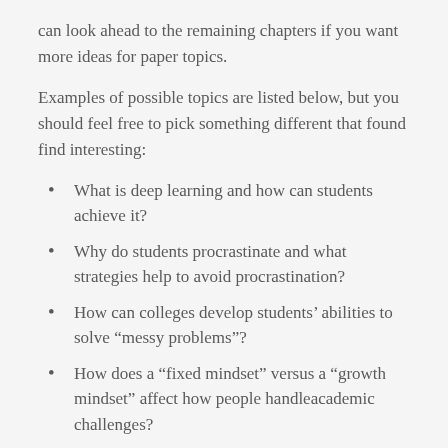can look ahead to the remaining chapters if you want more ideas for paper topics.
Examples of possible topics are listed below, but you should feel free to pick something different that found find interesting:
What is deep learning and how can students achieve it?
Why do students procrastinate and what strategies help to avoid procrastination?
How can colleges develop students' abilities to solve “messy problems”?
How does a “fixed mindset” versus a “growth mindset” affect how people handleacademic challenges?